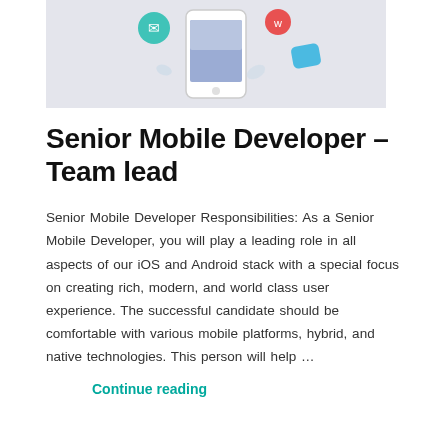[Figure (illustration): Illustration of a smartphone with colorful app icons floating around it on a light gray background]
Senior Mobile Developer – Team lead
Senior Mobile Developer Responsibilities: As a Senior Mobile Developer, you will play a leading role in all aspects of our iOS and Android stack with a special focus on creating rich, modern, and world class user experience. The successful candidate should be comfortable with various mobile platforms, hybrid, and native technologies. This person will help …
Continue reading